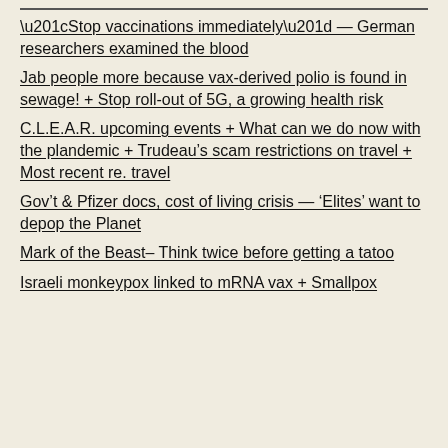“Stop vaccinations immediately” — German researchers examined the blood
Jab people more because vax-derived polio is found in sewage! + Stop roll-out of 5G, a growing health risk
C.L.E.A.R. upcoming events + What can we do now with the plandemic + Trudeau’s scam restrictions on travel + Most recent re. travel
Gov’t & Pfizer docs, cost of living crisis — ‘Elites’ want to depop the Planet
Mark of the Beast– Think twice before getting a tatoo
Israeli monkeypox linked to mRNA vax + Smallpox